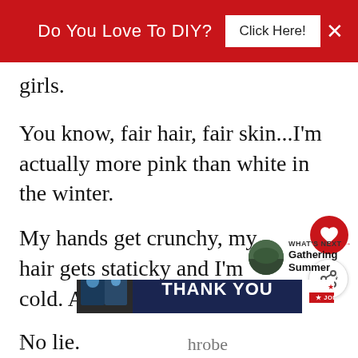[Figure (screenshot): Red banner advertisement: 'Do You Love To DIY? Click Here!' with close X button]
girls.
You know, fair hair, fair skin...I'm actually more pink than white in the winter.
My hands get crunchy, my hair gets staticky and I'm cold. All.The.Time.
No lie.
[Figure (screenshot): WHAT'S NEXT arrow label with circular photo and text 'Gathering Summer']
[Figure (screenshot): Bottom advertisement banner: 'Go Beyond Saying Thank You' Operation Gratitude 'Join Us']
hrobe